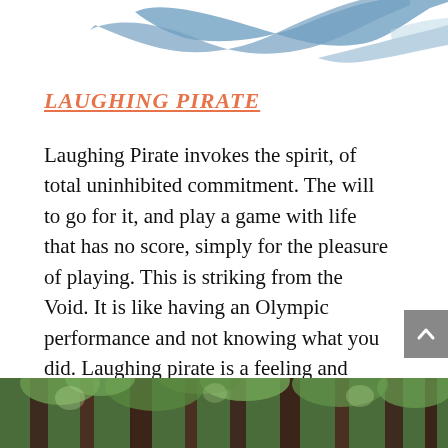[Figure (illustration): Partial illustration of a blue figure (bird or person) mid-motion, cropped at top of page]
LAUGHING PIRATE
Laughing Pirate invokes the spirit, of total uninhibited commitment. The will to go for it, and play a game with life that has no score, simply for the pleasure of playing. This is striking from the Void. It is like having an Olympic performance and not knowing what you did. Laughing pirate is a feeling and attitude that you summon with your smile.
[Figure (photo): Forest photograph showing tall trees with green foliage, partially visible at the bottom of the page]